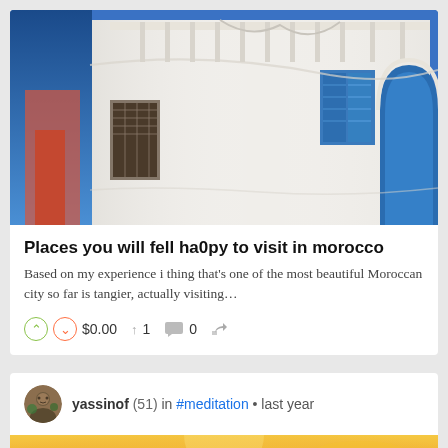[Figure (photo): Photo of a white Moroccan building with blue shutters and arched windows against a blue sky]
Places you will fell ha0py to visit in morocco
Based on my experience i thing that's one of the most beautiful Moroccan city so far is tangier, actually visiting...
↑ ↓ $0.00  ↑ 1  💬 0  ↩
yassinof (51) in #meditation • last year
[Figure (photo): Sunset sky with golden and orange hues]